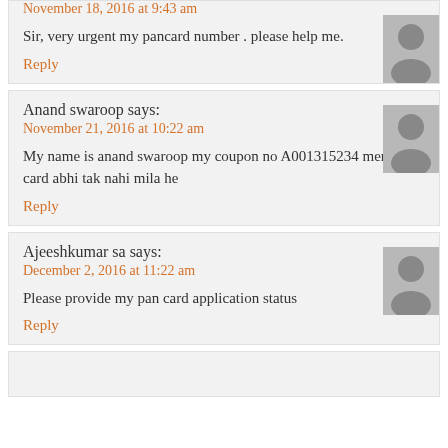November 18, 2016 at 9:43 am
Sir, very urgent my pancard number . please help me.
Reply
Anand swaroop says:
November 21, 2016 at 10:22 am
My name is anand swaroop my coupon no A001315234 mera pan card abhi tak nahi mila he
Reply
Ajeeshkumar sa says:
December 2, 2016 at 11:22 am
Please provide my pan card application status
Reply